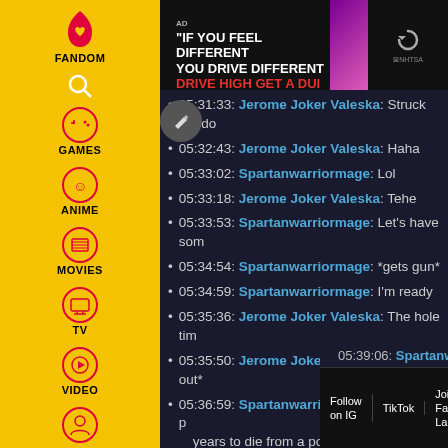[Figure (screenshot): Fandom website sidebar with yellow background showing navigation icons and labels: FANDOM (logo), search icon, GAMES (controller icon), ANIME (emoji icon), MOVIES (film reel icon), TV (TV icon), VIDEO (play icon), and user profile icon]
[Figure (screenshot): Ad banner at top: 'IF YOU FEEL DIFFERENT YOU DRIVE DIFFERENT DRIVE HIGH GET A DUI' with NHTSA logo and a thumbnail of a woman's face]
05:31:33: Jerome Joker Valeska: Struck me do
05:32:43: Jerome Joker Valeska: Haha
05:33:02: Spartanwarriormage: Lol
05:33:18: Jerome Joker Valeska: Tehe
05:33:53: Spartanwarriormage: Let's have som
05:34:54: Spartanwarriormage: *gets gun*
05:34:59: Spartanwarriormage: I'm ready
05:35:36: Jerome Joker Valeska: The hole tim
05:35:50: Jerome Joker Valeska: Bleed out*
05:36:59: Spartanwarriormage: If you're the p years to die from a point blank pistol headshot
05:37:20: Jerome Joker Valeska: He was neve
05:37:37: Spartanwarriormage: First time
05:39:06: Spartanwarriormage: Water
Follow on IG | TikTok | Join Fan Lab | Check out Fandom Quizzes and cha